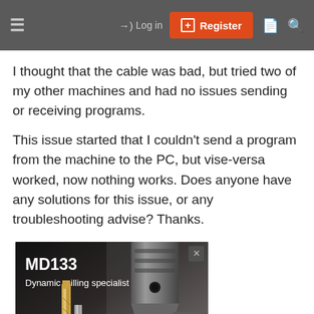≡  →) Log in  [+] Register  🗎  🔍
I thought that the cable was bad, but tried two of my other machines and had no issues sending or receiving programs.
This issue started that I couldn't send a program from the machine to the PC, but vise-versa worked, now nothing works. Does anyone have any solutions for this issue, or any troubleshooting advise? Thanks.
[Figure (photo): Advertisement banner for MD133 Dynamic milling specialist product, showing milling tools (end mills) and a spindle/chuck assembly against a dark gradient background.]